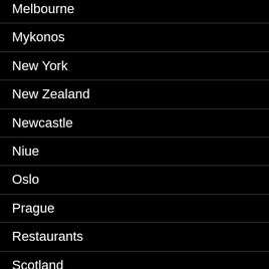Melbourne
Mykonos
New York
New Zealand
Newcastle
Niue
Oslo
Prague
Restaurants
Scotland
shopping
Singapore
Thailand